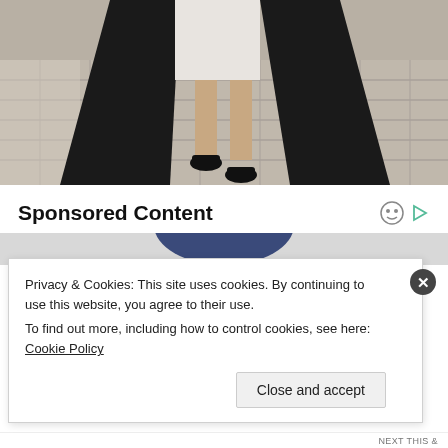[Figure (photo): Photo showing lower body of a person wearing a black academic gown/robe over a white dress with black flat shoes, walking on a cobblestone/paved street.]
Sponsored Content
[Figure (photo): Partial advertisement image partially visible behind cookie banner, showing a dark circular shape at top.]
Privacy & Cookies: This site uses cookies. By continuing to use this website, you agree to their use.
To find out more, including how to control cookies, see here: Cookie Policy
Close and accept